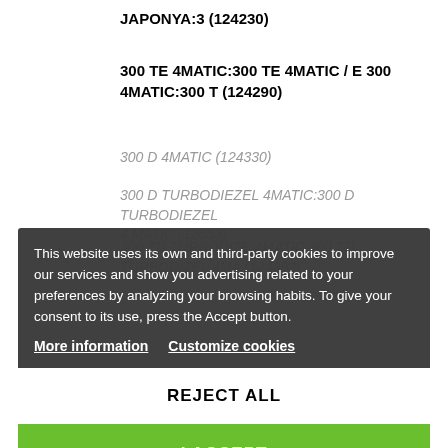JAPONYA:3 (124230)
300 TE 4MATIC:300 TE 4MATIC / E 300 4MATIC:300 T (124290)
300 D 4MATIC (124330)
300 D TURBODIEZEL 4MATIC:300 D TURBODIEZEL 4MATIC (12653)
300 TD TURBODIZE:4MATIC:300 TD TURBODIZEL 4MA (124393)
This website uses its own and third-party cookies to improve our services and show you advertising related to your preferences by analyzing your browsing habits. To give your consent to its use, press the Accept button.
More information  Customize cookies
REJECT ALL
I ACCEPT
300SEL:300SEL ABD (126025)
420 SE (126034)
420SEL:420SEL JAPONYA:420SEL ABD (126035)
500 SE:500 SE JAPONYA (126026)